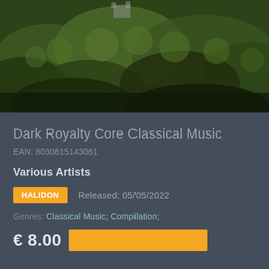[Figure (photo): Aerial/elevated photograph of a castle or fortress on a densely forested hillside with dark green trees covering the slopes]
Dark Royalty Core Classical Music
EAN: 8030615143061
Various Artists
HALIDON   Released: 05/05/2022
Genres: Classical Music; Compilation;
€ 8.00